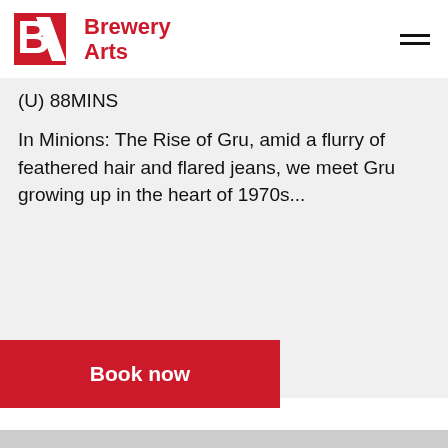Brewery Arts
(U) 88MINS
In Minions: The Rise of Gru, amid a flurry of feathered hair and flared jeans, we meet Gru growing up in the heart of 1970s...
Book now
[Figure (photo): Gray placeholder image block at the bottom of the page]